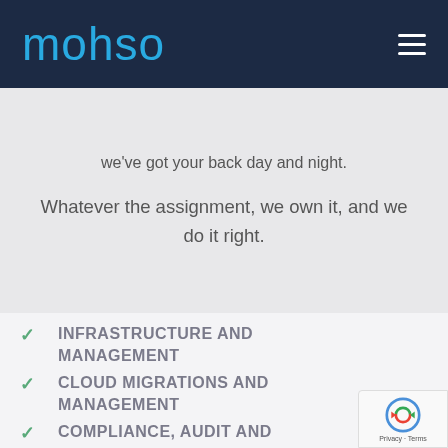[Figure (logo): mohso company logo in cyan/blue on dark navy background with hamburger menu icon]
we've got your back day and night.
Whatever the assignment, we own it, and we do it right.
INFRASTRUCTURE AND MANAGEMENT
CLOUD MIGRATIONS AND MANAGEMENT
COMPLIANCE, AUDIT AND